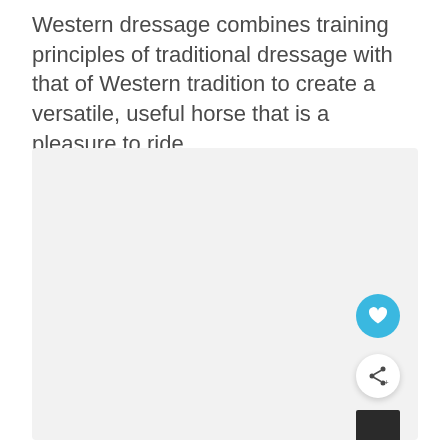Western dressage combines training principles of traditional dressage with that of Western tradition to create a versatile, useful horse that is a pleasure to ride.
[Figure (photo): A large light gray placeholder image area with three small gray dots near the center bottom, a teal heart button in the lower right, a white share button below it, and a dark strip at the very bottom right corner.]